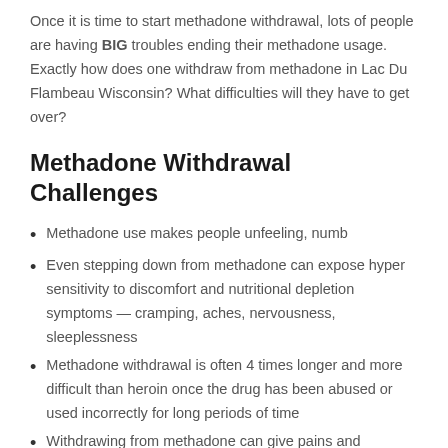Once it is time to start methadone withdrawal, lots of people are having BIG troubles ending their methadone usage. Exactly how does one withdraw from methadone in Lac Du Flambeau Wisconsin? What difficulties will they have to get over?
Methadone Withdrawal Challenges
Methadone use makes people unfeeling, numb
Even stepping down from methadone can expose hyper sensitivity to discomfort and nutritional depletion symptoms — cramping, aches, nervousness, sleeplessness
Methadone withdrawal is often 4 times longer and more difficult than heroin once the drug has been abused or used incorrectly for long periods of time
Withdrawing from methadone can give pains and